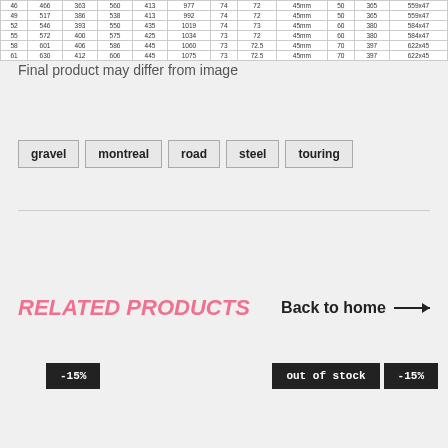| 46 | 466 | 363 | 560 | 413 | 977 | 74 | 72 | 45mm | 50 | 365 | 559x47 |
| 49 | 517 | 386 | 538 | 413 | 992 | 74 | 72 | 45mm | 50 | 365 | 559x47 |
| 52 | 546 | 393 | 550 | 435 | 1019 | 74 | 73 | 45mm | 60 | 380 | 584x47 |
| 55 | 572 | 400 | 575 | 425 | 1034 | 73 | 72 | 45mm | 60 | 380 | 584x47 |
| 58 | 601 | 406 | 586 | 445 | 1060 | 73 | 72.5 | 45mm | 70 | 397 | 622x45 |
| 61 | 630 | 412 | 606 | 445 | 1075 | 73 | 72.5 | 45mm | 70 | 397 | 622x45 |
Final product may differ from image
gravel
montreal
road
steel
touring
RELATED PRODUCTS
Back to home →
-15%
out of stock
-15%